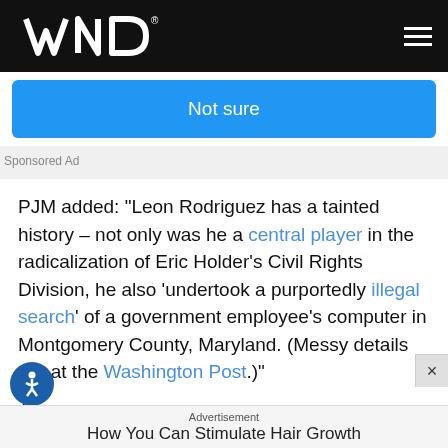WND
[Figure (other): Blue button labeled 'Not sure']
Sponsored Ad
PJM added: "Leon Rodriguez has a tainted history – not only was he a central player in the radicalization of Eric Holder's Civil Rights Division, he also 'undertook a purportedly illegal search' of a government employee's computer in Montgomery County, Maryland. (Messy details are at the Washington Post.)"
Advertisement
How You Can Stimulate Hair Growth